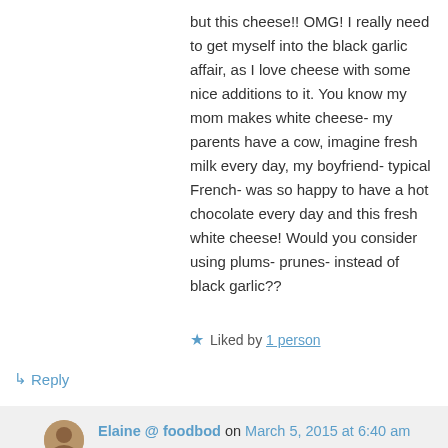but this cheese!! OMG! I really need to get myself into the black garlic affair, as I love cheese with some nice additions to it. You know my mom makes white cheese- my parents have a cow, imagine fresh milk every day, my boyfriend- typical French- was so happy to have a hot chocolate every day and this fresh white cheese! Would you consider using plums- prunes- instead of black garlic??
★ Liked by 1 person
↳ Reply
Elaine @ foodbod on March 5, 2015 at 6:40 am